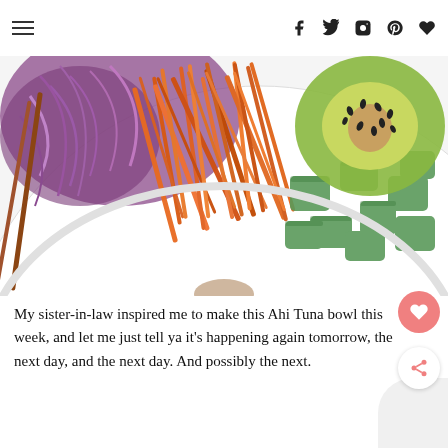Navigation and social icons: Facebook, Twitter, Instagram, Pinterest, Heart
[Figure (photo): A white bowl containing shredded carrots, purple red cabbage, sliced cucumber pieces, and an avocado half topped with black sesame seeds. Chopsticks visible on the left side. Viewed from above on a white surface.]
My sister-in-law inspired me to make this Ahi Tuna bowl this week, and let me just tell ya it's happening again tomorrow, the next day, and the next day. And possibly the next.